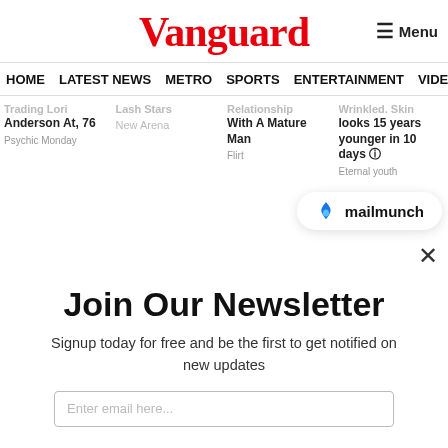Vanguard
HOME  LATEST NEWS  METRO  SPORTS  ENTERTAINMENT  VIDEOS
Trading Lori Anderson At, 76
Psychic Monday
Lash Stars
New Arena
Relationship With A Mature Man
Flirt
Wrinkled. Skin looks 15 years younger in 10 days
Eternal youth
[Figure (logo): mailmunch logo with blue flame icon and text 'mailmunch']
Join Our Newsletter
Signup today for free and be the first to get notified on new updates
Enter email here...